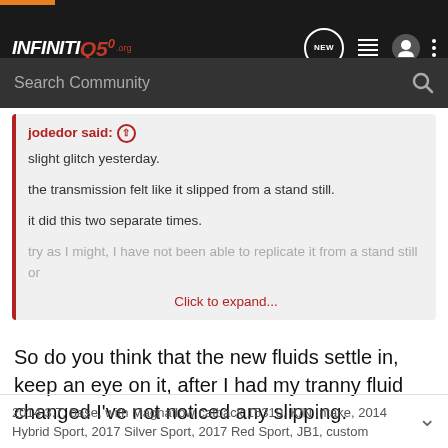INFINITI Q50 .org — Search Community
jodedor said:
slght glitch yesterday.

the transmission felt like it slipped from a stand still.

it did this two separate times.

try as I might, I have not been able to replicate it from a stand still or
Click to expand...
So do you think that the new fluids settle in, keep an eye on it, after I had my tranny fluid changed I've not noticed any slipping.
2014 3.7, base, with Magnaflow catback 15310, K/N Intake, 2014 Hybrid Sport, 2017 Silver Sport, 2017 Red Sport, JB1, custom